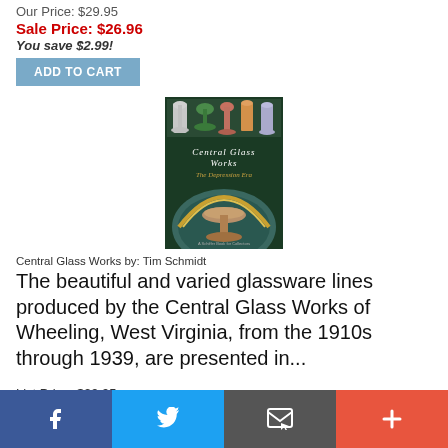Our Price: $29.95
Sale Price: $26.96
You save $2.99!
ADD TO CART
[Figure (photo): Book cover of 'Central Glass Works: The Depression Era' by Tim Schmidt, published as a Schiffer Book for Collectors. Dark green cover with glassware images at top and an ornate glass pedestal bowl at bottom.]
Central Glass Works by: Tim Schmidt
The beautiful and varied glassware lines produced by the Central Glass Works of Wheeling, West Virginia, from the 1910s through 1939, are presented in...
List Price: $29.95
Our Price: $29.95
Sale Price: $26.96
[Figure (infographic): Social media sharing bar with Facebook, Twitter, Email, and Add buttons]